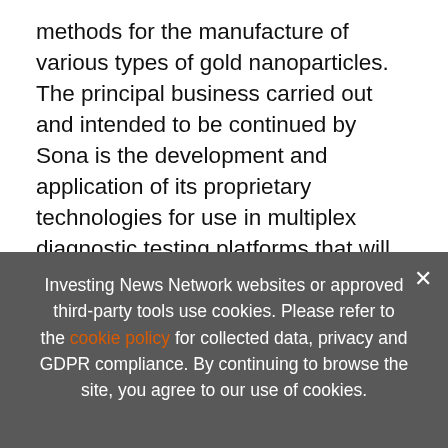methods for the manufacture of various types of gold nanoparticles. The principal business carried out and intended to be continued by Sona is the development and application of its proprietary technologies for use in multiplex diagnostic testing platforms that will improve performance over existing tests in the market. Sona Nanotech's gold nanorod particles are CTAB (cetyltrimethylammonium) free, eliminating the toxic … gold nanorod technologies in medical applications. It is
[Figure (screenshot): Advertisement banner: EXCLUSIVE 2022 ZINC OUTLOOK REPORT. TRENDS. FORECASTS. TOP STOCKS with orange arrow button and vertical orange bar.]
Investing News Network websites or approved third-party tools use cookies. Please refer to the cookie policy for collected data, privacy and GDPR compliance. By continuing to browse the site, you agree to our use of cookies.